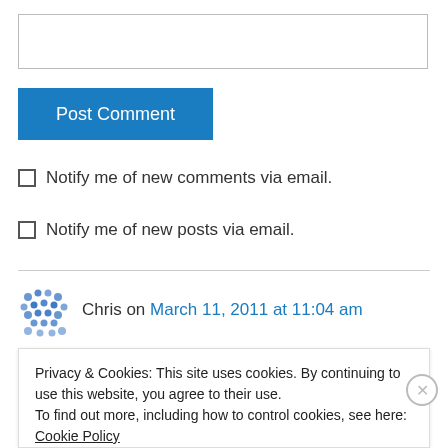[Figure (screenshot): Empty text area input box for comment entry]
Post Comment
Notify me of new comments via email.
Notify me of new posts via email.
Chris on March 11, 2011 at 11:04 am
Privacy & Cookies: This site uses cookies. By continuing to use this website, you agree to their use.
To find out more, including how to control cookies, see here: Cookie Policy
Close and accept